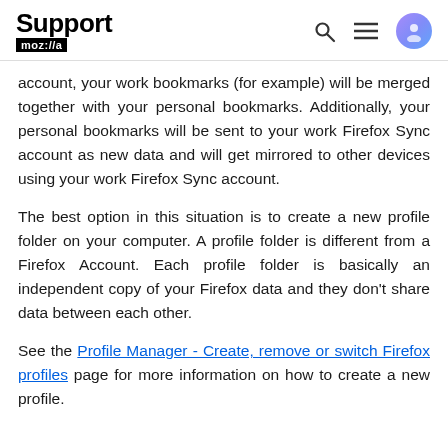Support mozilla//a
account, your work bookmarks (for example) will be merged together with your personal bookmarks. Additionally, your personal bookmarks will be sent to your work Firefox Sync account as new data and will get mirrored to other devices using your work Firefox Sync account.
The best option in this situation is to create a new profile folder on your computer. A profile folder is different from a Firefox Account. Each profile folder is basically an independent copy of your Firefox data and they don't share data between each other.
See the Profile Manager - Create, remove or switch Firefox profiles page for more information on how to create a new profile.